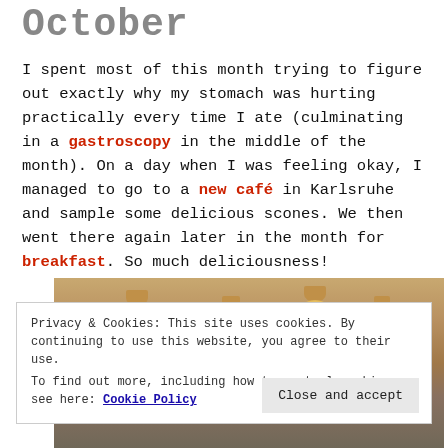October
I spent most of this month trying to figure out exactly why my stomach was hurting practically every time I ate (culminating in a gastroscopy in the middle of the month). On a day when I was feeling okay, I managed to go to a new café in Karlsruhe and sample some delicious scones. We then went there again later in the month for breakfast. So much deliciousness!
[Figure (photo): Interior of a café showing ceiling lights hanging over a warm-toned room]
Privacy & Cookies: This site uses cookies. By continuing to use this website, you agree to their use. To find out more, including how to control cookies, see here: Cookie Policy
Close and accept